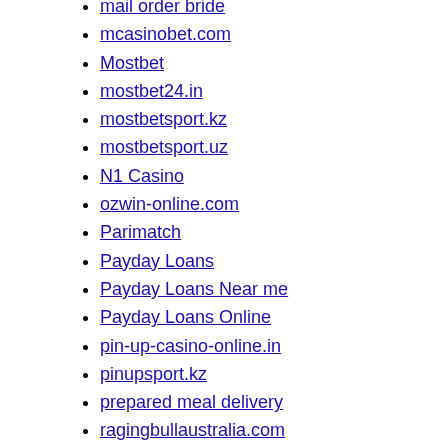mail order bride
mcasinobet.com
Mostbet
mostbet24.in
mostbetsport.kz
mostbetsport.uz
N1 Casino
ozwin-online.com
Parimatch
Payday Loans
Payday Loans Near me
Payday Loans Online
pin-up-casino-online.in
pinupsport.kz
prepared meal delivery
ragingbullaustralia.com
ranking bukmacherow
sex chat sites
sex sites